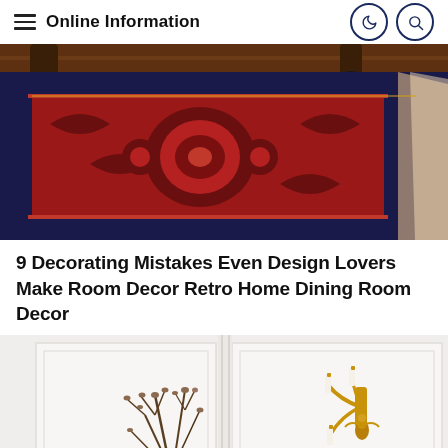Online Information
[Figure (photo): Close-up photo of an ornate Persian/Oriental rug with red, navy blue, and cream intricate floral and medallion patterns, with dark wooden furniture legs visible at the top on a hardwood floor]
9 Decorating Mistakes Even Design Lovers Make Room Decor Retro Home Dining Room Decor
[Figure (photo): Interior room photo with white paneled walls, bare branches in a vase on the left, and a gold ornate candelabra wall sconce on the right]